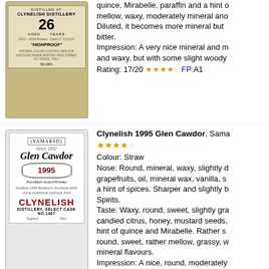[Figure (photo): Photo of Clynelish Distillery 26 Years whisky bottle label]
quince, Mirabelle, paraffin and a hint of bitter. mellow, waxy, moderately mineral and... Diluted, it becomes more mineral but bitter. Impression: A very nice mineral and m... and waxy, but with some slight woody... Rating: 17/20 FP:A1
[Figure (photo): Photo of Glen Cawdor 1995 Clynelish Distillery Select Cask whisky bottle label]
Clynelish 1995 Glen Cawdor, Sama... Colour: Straw Nose: Round, mineral, waxy, slightly d... grapefruits, oil, mineral wax, vanilla, s... a hint of spices. Sharper and slightly b... Spirits. Taste: Waxy, round, sweet, slightly gra... candied citrus, honey, mustard seeds,... hint of quince and Mirabelle. Rather s... round, sweet, rather mellow, grassy, w... mineral flavours. Impression: A nice, round, moderately... expression of Clynelish. Thank you St... Rating: 15/20 FP:A1